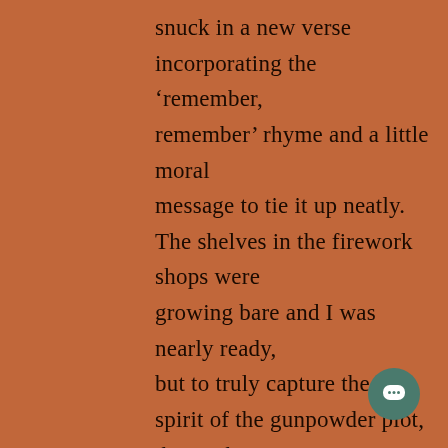snuck in a new verse incorporating the 'remember, remember' rhyme and a little moral message to tie it up neatly. The shelves in the firework shops were growing bare and I was nearly ready, but to truly capture the spirit of the gunpowder plot, the track needed two more things: a guitar solo and an outrageously funky riff. Fellow Yorkie Dan Webster provided a twangtastic telecaster solo and my eldest brother Ben travelled over from France and bro...